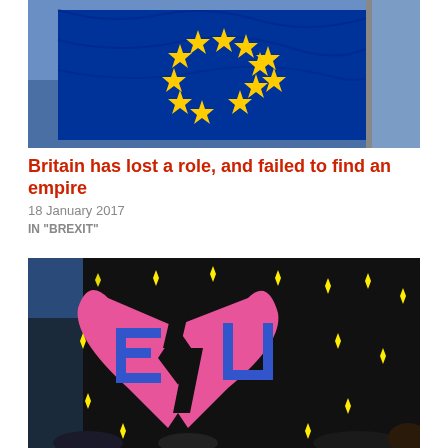[Figure (photo): European Union flag waving against blue sky, showing blue background with yellow stars]
Britain has lost a role, and failed to find an empire
18 January 2017
IN "BREXIT"
[Figure (photo): Protest sign showing a broken pink heart with 'E' and 'U' letters on a black background with yellow stars, Brexit protest banner]